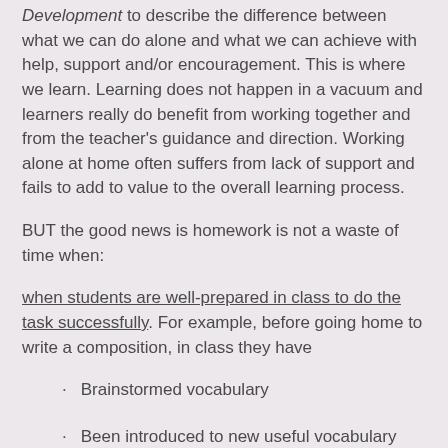Development to describe the difference between what we can do alone and what we can achieve with help, support and/or encouragement. This is where we learn. Learning does not happen in a vacuum and learners really do benefit from working together and from the teacher's guidance and direction. Working alone at home often suffers from lack of support and fails to add to value to the overall learning process.
BUT the good news is homework is not a waste of time when:
when students are well-prepared in class to do the task successfully. For example, before going home to write a composition, in class they have
Brainstormed vocabulary
Been introduced to new useful vocabulary